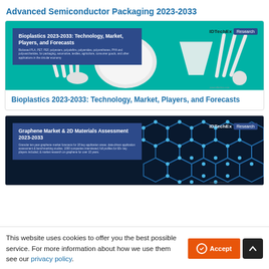Advanced Semiconductor Packaging 2023-2033
[Figure (screenshot): IDTechEx Research report cover for Bioplastics 2023-2033: Technology, Market, Players, and Forecasts. Shows white plastic cutlery and dishware on teal background with report title overlay in dark blue.]
Bioplastics 2023-2033: Technology, Market, Players, and Forecasts
[Figure (screenshot): IDTechEx Research report cover for Graphene Market & 2D Materials Assessment 2023-2033. Shows molecular graphene honeycomb lattice structure on dark blue background with report title overlay.]
This website uses cookies to offer you the best possible service. For more information about how we use them see our privacy policy.